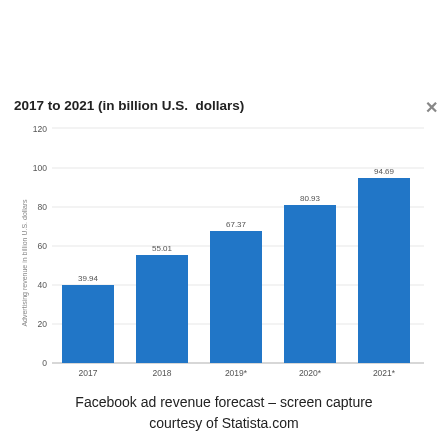2017 to 2021 (in billion U.S. dollars)
[Figure (bar-chart): 2017 to 2021 (in billion U.S. dollars)]
Facebook ad revenue forecast – screen capture courtesy of Statista.com